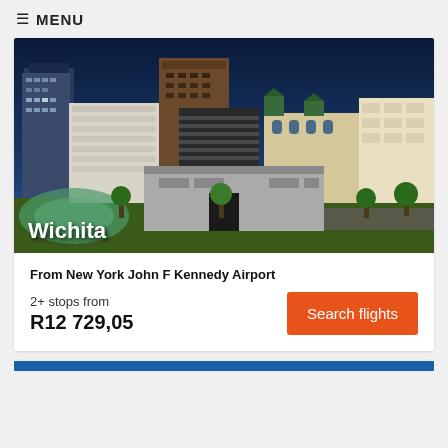≡ MENU
[Figure (photo): Aerial/elevated cityscape photo of Wichita city buildings at dusk/night with lit buildings, blue sky, and green trees in foreground. City name 'Wichita' overlaid in white bold text at bottom left.]
From New York John F Kennedy Airport
2+ stops from
R12 729,05
Search flights